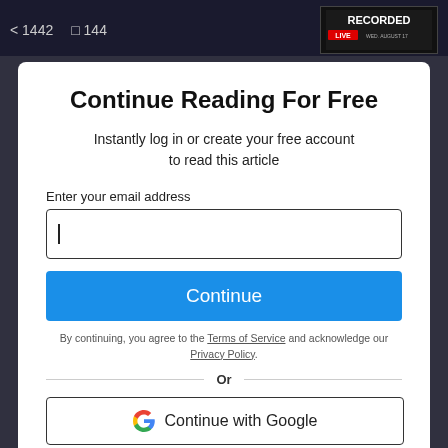< 1442   144
Continue Reading For Free
Instantly log in or create your free account to read this article
Enter your email address
Continue
By continuing, you agree to the Terms of Service and acknowledge our Privacy Policy.
Or
Continue with Google